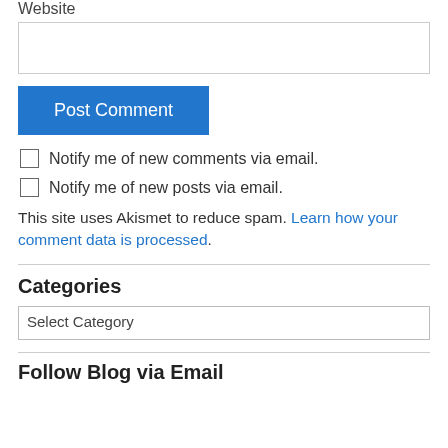Website
Post Comment
Notify me of new comments via email.
Notify me of new posts via email.
This site uses Akismet to reduce spam. Learn how your comment data is processed.
Categories
Select Category
Follow Blog via Email